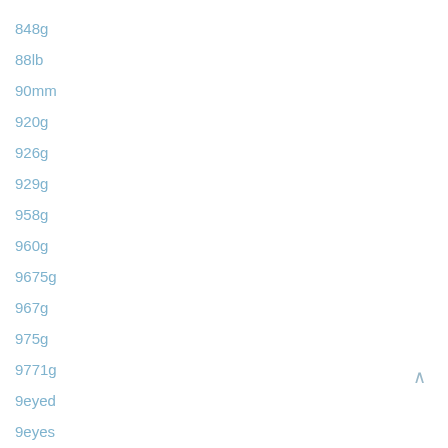848g
88lb
90mm
920g
926g
929g
958g
960g
9675g
967g
975g
9771g
9eyed
9eyes